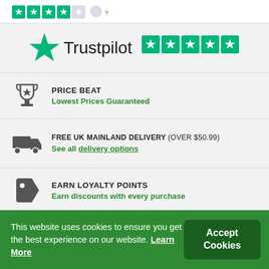[Figure (logo): Trustpilot logo with green star and 5 green star rating boxes]
PRICE BEAT
Lowest Prices Guaranteed
FREE UK MAINLAND DELIVERY (OVER $50.99)
See all delivery options
EARN LOYALTY POINTS
Earn discounts with every purchase
This website uses cookies to ensure you get the best experience on our website. Learn More
Accept Cookies